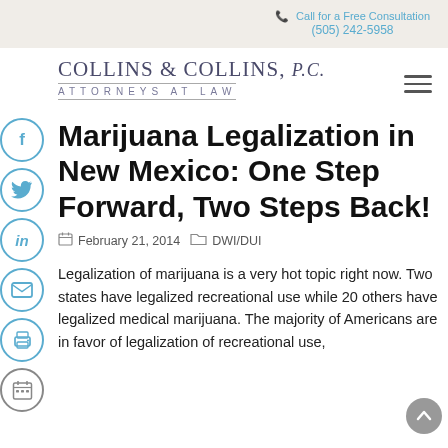Call for a Free Consultation
(505) 242-5958
[Figure (logo): Collins & Collins, P.C. Attorneys at Law law firm logo]
Marijuana Legalization in New Mexico: One Step Forward, Two Steps Back!
February 21, 2014   DWI/DUI
Legalization of marijuana is a very hot topic right now. Two states have legalized recreational use while 20 others have legalized medical marijuana. The majority of Americans are in favor of legalization of recreational use,